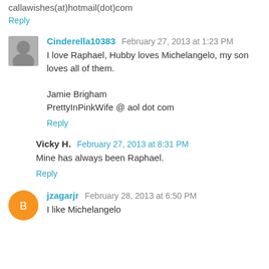callawishes(at)hotmail(dot)com
Reply
Cinderella10383  February 27, 2013 at 1:23 PM
I love Raphael, Hubby loves Michelangelo, my son loves all of them.

Jamie Brigham
PrettyInPinkWife @ aol dot com
Reply
Vicky H.  February 27, 2013 at 8:31 PM
Mine has always been Raphael.
Reply
jzagarjr  February 28, 2013 at 6:50 PM
I like Michelangelo